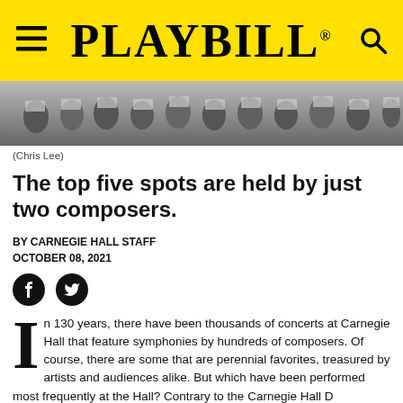PLAYBILL
[Figure (photo): Black and white overhead photo of an orchestra performing, musicians with sheet music stands visible]
(Chris Lee)
The top five spots are held by just two composers.
BY CARNEGIE HALL STAFF
OCTOBER 08, 2021
[Figure (infographic): Social media share icons: Facebook and Twitter circular black buttons]
In 130 years, there have been thousands of concerts at Carnegie Hall that feature symphonies by hundreds of composers. Of course, there are some that are perennial favorites, treasured by artists and audiences alike. But which have been performed most frequently at the Hall? Contrary to the Carnegie Hall D